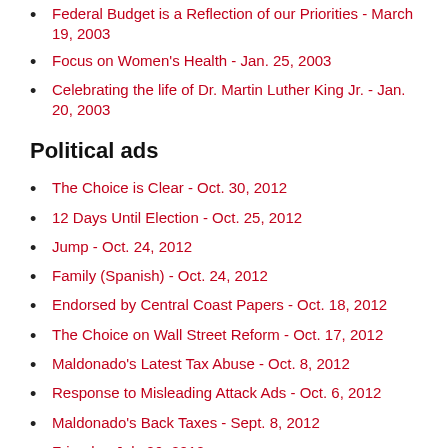Federal Budget is a Reflection of our Priorities - March 19, 2003
Focus on Women's Health - Jan. 25, 2003
Celebrating the life of Dr. Martin Luther King Jr. - Jan. 20, 2003
Political ads
The Choice is Clear - Oct. 30, 2012
12 Days Until Election - Oct. 25, 2012
Jump - Oct. 24, 2012
Family (Spanish) - Oct. 24, 2012
Endorsed by Central Coast Papers - Oct. 18, 2012
The Choice on Wall Street Reform - Oct. 17, 2012
Maldonado's Latest Tax Abuse - Oct. 8, 2012
Response to Misleading Attack Ads - Oct. 6, 2012
Maldonado's Back Taxes - Sept. 8, 2012
Friends - July 26, 2012